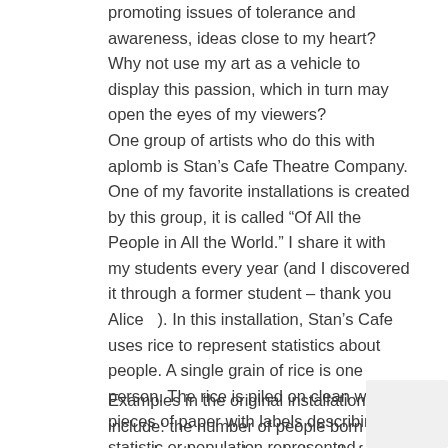promoting issues of tolerance and awareness, ideas close to my heart?  Why not use my art as a vehicle to display this passion, which in turn may open the eyes of my viewers?
One group of artists who do this with aplomb is Stan’s Cafe Theatre Company.  One of my favorite installations is created by this group, it is called “Of All the People in All the World.”  I share it with my students every year (and I discovered it through a former student – thank you Alice   ).  In this installation, Stan’s Cafe uses rice to represent statistics about people.  A single grain of rice is one person.  The rice is piled on clean white pieces of paper with labels describing the statistic or population represented.
Examples in the original installation include: the number of people born each day, the number wh die, all of the people who have walked on the moon,